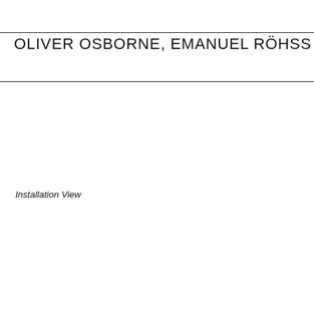OLIVER OSBORNE, EMANUEL RÖHSS & MAX RUF
Installation View